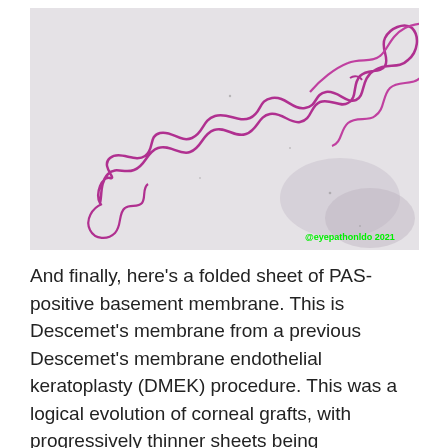[Figure (photo): Microscopy image of a folded sheet of PAS-positive basement membrane (Descemet's membrane) stained in purple/magenta on a light gray background. The membrane appears as a sinuous, ribbon-like folded structure extending diagonally. Watermark '@eyepathonldo 2021' in green text at bottom right.]
And finally, here's a folded sheet of PAS-positive basement membrane. This is Descemet's membrane from a previous Descemet's membrane endothelial keratoplasty (DMEK) procedure. This was a logical evolution of corneal grafts, with progressively thinner sheets being transplanted. Advantages include better integrity of the eye, less optical